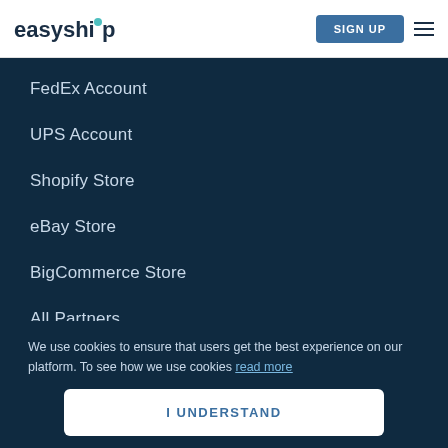easyship | SIGN UP
FedEx Account
UPS Account
Shopify Store
eBay Store
BigCommerce Store
All Partners
We use cookies to ensure that users get the best experience on our platform. To see how we use cookies read more
I UNDERSTAND